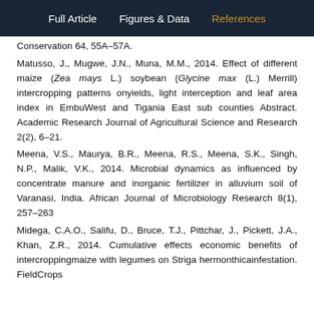Full Article   Figures & Data   References
Conservation 64, 55A–57A.
Matusso, J., Mugwe, J.N., Muna, M.M., 2014. Effect of different maize (Zea mays L.) soybean (Glycine max (L.) Merrill) intercropping patterns onyields, light interception and leaf area index in EmbuWest and Tigania East sub counties Abstract. Academic Research Journal of Agricultural Science and Research 2(2), 6–21.
Meena, V.S., Maurya, B.R., Meena, R.S., Meena, S.K., Singh, N.P., Malik, V.K., 2014. Microbial dynamics as influenced by concentrate manure and inorganic fertilizer in alluvium soil of Varanasi, India. African Journal of Microbiology Research 8(1), 257–263
Midega, C.A.O., Salifu, D., Bruce, T.J., Pittchar, J., Pickett, J.A., Khan, Z.R., 2014. Cumulative effects economic benefits of intercroppingmaize with legumes on Striga hermonthicainfestation. FieldCrops